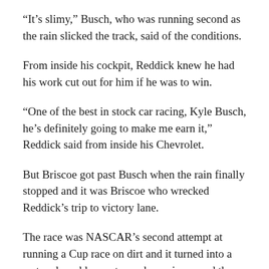“It’s slimy,” Busch, who was running second as the rain slicked the track, said of the conditions.
From inside his cockpit, Reddick knew he had his work cut out for him if he was to win.
“One of the best in stock car racing, Kyle Busch, he’s definitely going to make me earn it,” Reddick said from inside his Chevrolet.
But Briscoe got past Busch when the rain finally stopped and it was Briscoe who wrecked Reddick’s trip to victory lane.
The race was NASCAR’s second attempt at running a Cup race on dirt and it turned into a wet and muddy mystery when rain paused the racing and most of the drivers seemed clueless about the rules.
Bristol dumped more than 2,300 truckloads of Tennessee red clay onto its beloved concrete 0.533-